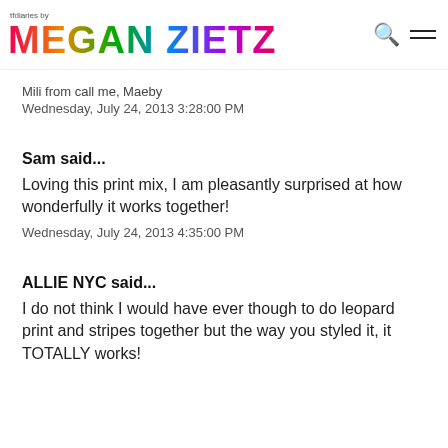tfdiaries by MEGAN ZIETZ
Mili from call me, Maeby
Wednesday, July 24, 2013 3:28:00 PM
Sam said...
Loving this print mix, I am pleasantly surprised at how wonderfully it works together!
Wednesday, July 24, 2013 4:35:00 PM
ALLIE NYC said...
I do not think I would have ever though to do leopard print and stripes together but the way you styled it, it TOTALLY works!